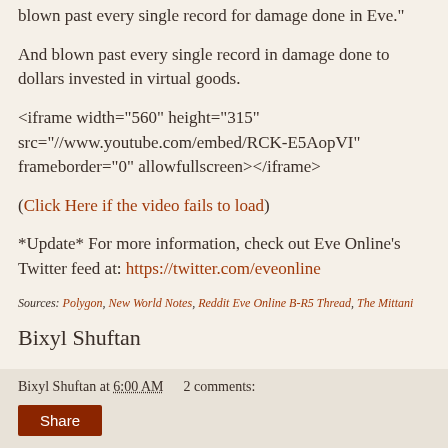blown past every single record for damage done in Eve."
And blown past every single record in damage done to dollars invested in virtual goods.
<iframe width="560" height="315" src="//www.youtube.com/embed/RCK-E5AopVI" frameborder="0" allowfullscreen></iframe>
(Click Here if the video fails to load)
*Update* For more information, check out Eve Online's Twitter feed at: https://twitter.com/eveonline
Sources: Polygon, New World Notes, Reddit Eve Online B-R5 Thread, The Mittani
Bixyl Shuftan
Bixyl Shuftan at 6:00 AM    2 comments:  Share